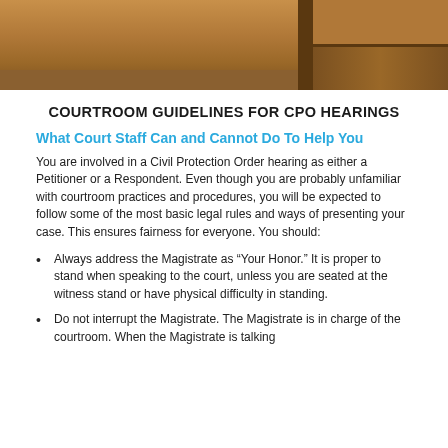[Figure (photo): Interior photo of a courtroom showing wooden furniture, benches, and judge's bench area with warm brown wood tones.]
COURTROOM GUIDELINES FOR CPO HEARINGS
What Court Staff Can and Cannot Do To Help You
You are involved in a Civil Protection Order hearing as either a Petitioner or a Respondent. Even though you are probably unfamiliar with courtroom practices and procedures, you will be expected to follow some of the most basic legal rules and ways of presenting your case. This ensures fairness for everyone. You should:
Always address the Magistrate as “Your Honor.” It is proper to stand when speaking to the court, unless you are seated at the witness stand or have physical difficulty in standing.
Do not interrupt the Magistrate. The Magistrate is in charge of the courtroom. When the Magistrate is talking…